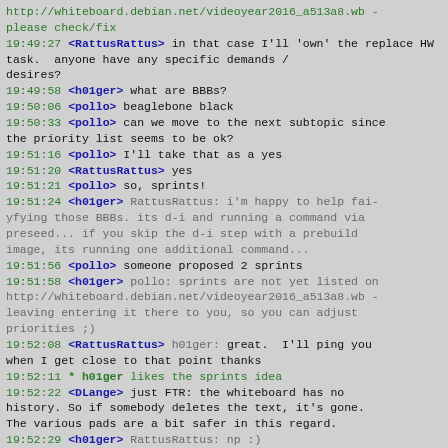http://whiteboard.debian.net/videoyear2016_a513a8.wb - please check/fix
19:49:27 <RattusRattus> in that case I'll 'own' the replace HW task.  anyone have any specific demands / desires?
19:49:58 <h01ger> what are BBBs?
19:50:06 <pollo> beaglebone black
19:50:33 <pollo> can we move to the next subtopic since the priority list seems to be ok?
19:51:16 <pollo> I'll take that as a yes
19:51:20 <RattusRattus> yes
19:51:21 <pollo> so, sprints!
19:51:24 <h01ger> RattusRattus: i'm happy to help fai-yfying those BBBs. its d-i and running a command via preseed... if you skip the d-i step with a prebuild image, its running one additional command...
19:51:56 <pollo> someone proposed 2 sprints
19:51:58 <h01ger> pollo: sprints are not yet listed on http://whiteboard.debian.net/videoyear2016_a513a8.wb - leaving entering it there to you, so you can adjust priorities ;)
19:52:08 <RattusRattus> h01ger: great.  I'll ping you when I get close to that point thanks
19:52:11 * h01ger likes the sprints idea
19:52:22 <DLange> just FTR: the whiteboard has no history. So if somebody deletes the text, it's gone. The various pads are a bit safer in this regard.
19:52:29 <h01ger> RattusRattus: np :)
19:52:45 <pollo> DLange: I'll move that to a safer place after the meeting